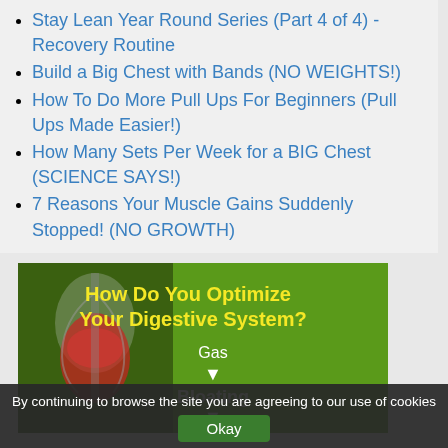Stay Lean Year Round Series (Part 4 of 4) - Recovery Routine
Build a Big Chest with Bands (NO WEIGHTS!)
How To Do More Pull Ups For Beginners (Pull Ups Made Easier!)
How Many Sets Per Week for a BIG Chest (SCIENCE SAYS!)
7 Reasons Your Muscle Gains Suddenly Stopped! (NO GROWTH)
[Figure (infographic): Green banner ad showing an x-ray style human torso with highlighted digestive organs in red, with text: 'How Do You Optimize Your Digestive System? Gas → Bloating →' on a green background]
By continuing to browse the site you are agreeing to our use of cookies